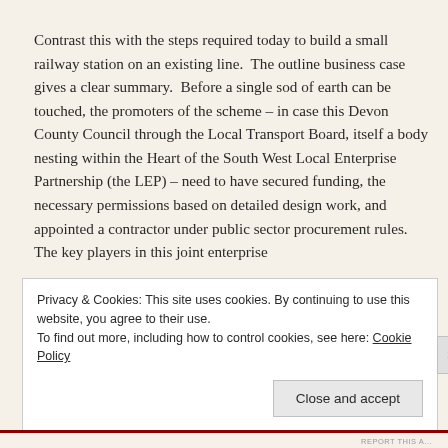Contrast this with the steps required today to build a small railway station on an existing line.  The outline business case gives a clear summary.  Before a single sod of earth can be touched, the promoters of the scheme – in case this Devon County Council through the Local Transport Board, itself a body nesting within the Heart of the South West Local Enterprise Partnership (the LEP) – need to have secured funding, the necessary permissions based on detailed design work, and appointed a contractor under public sector procurement rules.  The key players in this joint enterprise
Privacy & Cookies: This site uses cookies. By continuing to use this website, you agree to their use.
To find out more, including how to control cookies, see here: Cookie Policy
Close and accept